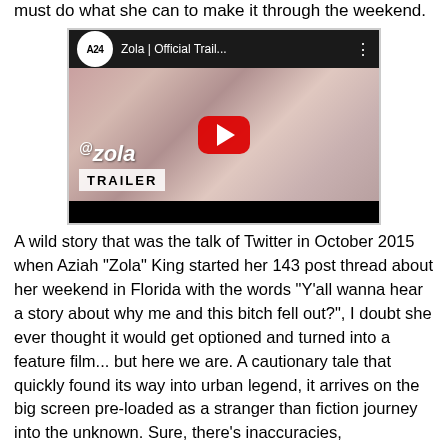must do what she can to make it through the weekend.
[Figure (screenshot): YouTube video embed showing the official trailer for 'Zola' by A24. Header shows A24 logo and title 'Zola | Official Trail...' with a three-dot menu. The video thumbnail shows two women with text '@zola' and 'TRAILER' overlaid, with a large red YouTube play button in the center.]
A wild story that was the talk of Twitter in October 2015 when Aziah "Zola" King started her 143 post thread about her weekend in Florida with the words "Y'all wanna hear a story about why me and this bitch fell out?", I doubt she ever thought it would get optioned and turned into a feature film... but here we are. A cautionary tale that quickly found its way into urban legend, it arrives on the big screen pre-loaded as a stranger than fiction journey into the unknown. Sure, there's inaccuracies, embellishments and details changed